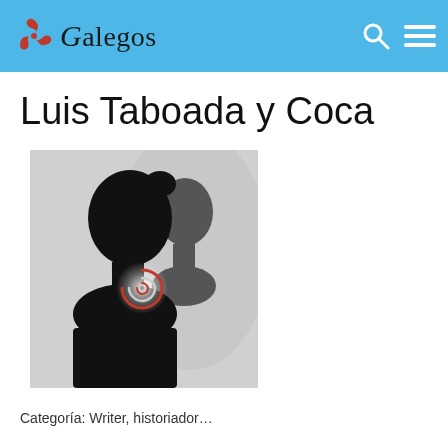Galegos
Luis Taboada y Coca
[Figure (photo): Silhouette of two people facing each other in profile against a light background, with a glowing red-and-white spiral symbol on the ear area of the foreground figure.]
Categoría: Writer, historiador...